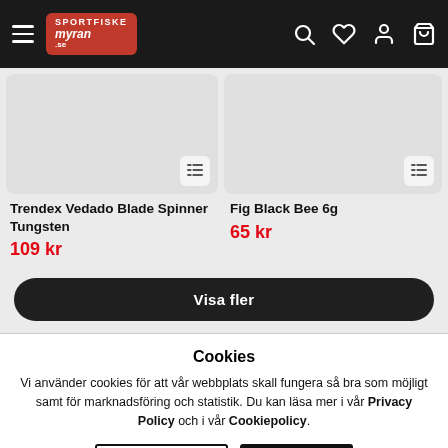Sportfiskemyran.se - header navigation
[Figure (screenshot): Product image placeholder for Trendex Vedado Blade Spinner Tungsten]
Trendex Vedado Blade Spinner Tungsten
109 kr
[Figure (screenshot): Product image placeholder for Fig Black Bee 6g]
Fig Black Bee 6g
65 kr
Visa fler
Cookies
Vi använder cookies för att vår webbplats skall fungera så bra som möjligt samt för marknadsföring och statistik. Du kan läsa mer i vår Privacy Policy och i vår Cookiepolicy.
INSTÄLLNINGAR
ACCEPTERA